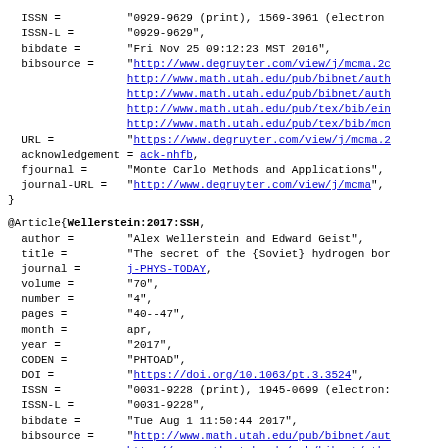ISSN = "0929-9629 (print), 1569-3961 (electron..."
  ISSN-L = "0929-9629",
  bibdate = "Fri Nov 25 09:12:23 MST 2016",
  bibsource = "http://www.degruyter.com/view/j/mcma.2c...
              http://www.math.utah.edu/pub/bibnet/auth...
              http://www.math.utah.edu/pub/bibnet/auth...
              http://www.math.utah.edu/pub/tex/bib/ein...
              http://www.math.utah.edu/pub/tex/bib/mcn..."
  URL = "https://www.degruyter.com/view/j/mcma.2..."
  acknowledgement = ack-nhfb,
  fjournal = "Monte Carlo Methods and Applications",
  journal-URL = "http://www.degruyter.com/view/j/mcma",
}
@Article{Wellerstein:2017:SSH,
  author = "Alex Wellerstein and Edward Geist",
  title = "The secret of the {Soviet} hydrogen bor..."
  journal = j-PHYS-TODAY,
  volume = "70",
  number = "4",
  pages = "40--47",
  month = apr,
  year = "2017",
  CODEN = "PHTOAD",
  DOI = "https://doi.org/10.1063/pt.3.3524",
  ISSN = "0031-9228 (print), 1945-0699 (electron..."
  ISSN-L = "0031-9228",
  bibdate = "Tue Aug 1 11:50:44 2017",
  bibsource = "http://www.math.utah.edu/pub/bibnet/au...
              http://www.math.utah.edu/pub/bibnet/ath..."